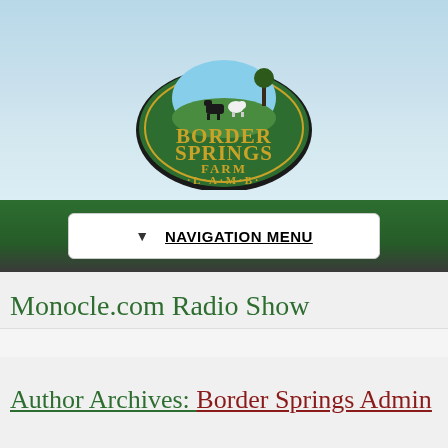[Figure (logo): Border Springs Farm Lamb logo — oval green badge with yellow text reading 'Border Springs Farm · L·A·M·B·' and farm animals silhouette on top]
NAVIGATION MENU
Monocle.com Radio Show
Author Archives: Border Springs Admin